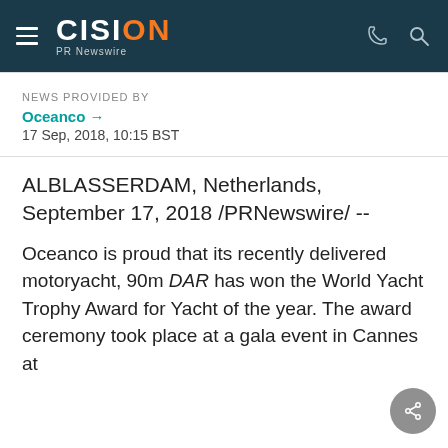CISION PR Newswire
NEWS PROVIDED BY
Oceanco →
17 Sep, 2018, 10:15 BST
ALBLASSERDAM, Netherlands, September 17, 2018 /PRNewswire/ --
Oceanco is proud that its recently delivered motoryacht, 90m DAR has won the World Yacht Trophy Award for Yacht of the year. The award ceremony took place at a gala event in Cannes at